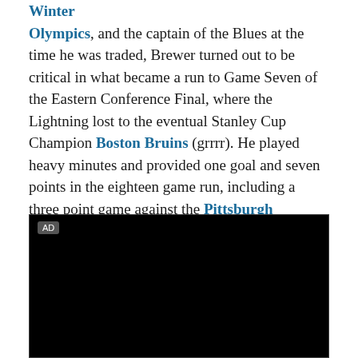Gold medal with Team Canada at the 2002 Winter Olympics, and the captain of the Blues at the time he was traded, Brewer turned out to be critical in what became a run to Game Seven of the Eastern Conference Final, where the Lightning lost to the eventual Stanley Cup Champion Boston Bruins (grrrr). He played heavy minutes and provided one goal and seven points in the eighteen game run, including a three point game against the Pittsburgh Penguins in the first round.
[Figure (other): Black video/ad player with AD label in top left corner]